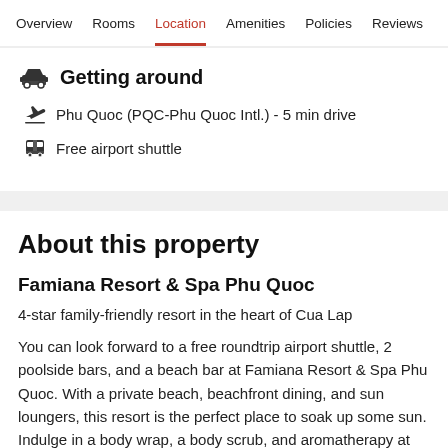Overview  Rooms  Location  Amenities  Policies  Reviews
Getting around
Phu Quoc (PQC-Phu Quoc Intl.) - 5 min drive
Free airport shuttle
About this property
Famiana Resort & Spa Phu Quoc
4-star family-friendly resort in the heart of Cua Lap
You can look forward to a free roundtrip airport shuttle, 2 poolside bars, and a beach bar at Famiana Resort & Spa Phu Quoc. With a private beach, beachfront dining, and sun loungers, this resort is the perfect place to soak up some sun. Indulge in a body wrap, a body scrub, and aromatherapy at Sandle Spa, the onsite spa. Enjoy Vietnamese cuisine, a poolside location, and garden views at the